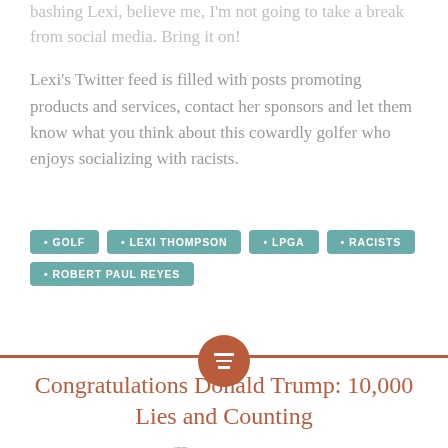bashing Lexi, believe me, I'm not going to take a break from social media. Bring it on!
Lexi's Twitter feed is filled with posts promoting products and services, contact her sponsors and let them know what you think about this cowardly golfer who enjoys socializing with racists.
GOLF
LEXI THOMPSON
LPGA
RACISTS
ROBERT PAUL REYES
Congratulations Donald Trump: 10,000 Lies and Counting
MAY 1, 2019